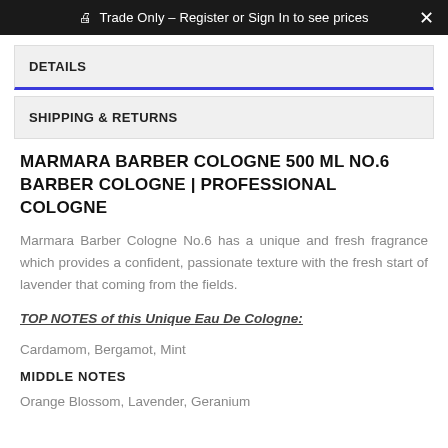Trade Only – Register or Sign In to see prices
DETAILS
SHIPPING & RETURNS
MARMARA BARBER COLOGNE 500 ML NO.6 BARBER COLOGNE | PROFESSIONAL COLOGNE
Marmara Barber Cologne No.6 has a unique and fresh fragrance which provides a confident, passionate texture with the fresh start of lavender that coming from the fields.
TOP NOTES of this Unique Eau De Cologne:
Cardamom, Bergamot, Mint
MIDDLE NOTES
Orange Blossom, Lavender, Geranium